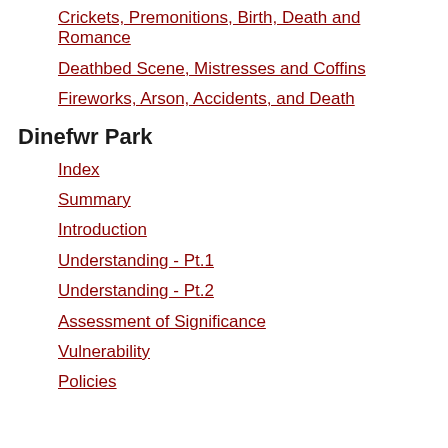Crickets, Premonitions, Birth, Death and Romance
Deathbed Scene, Mistresses and Coffins
Fireworks, Arson, Accidents, and Death
Dinefwr Park
Index
Summary
Introduction
Understanding - Pt.1
Understanding - Pt.2
Assessment of Significance
Vulnerability
Policies